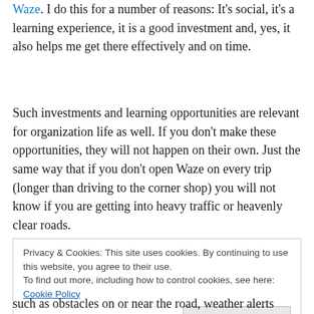Waze. I do this for a number of reasons: It's social, it's a learning experience, it is a good investment and, yes, it also helps me get there effectively and on time.
Such investments and learning opportunities are relevant for organization life as well. If you don't make these opportunities, they will not happen on their own. Just the same way that if you don't open Waze on every trip (longer than driving to the corner shop) you will not know if you are getting into heavy traffic or heavenly clear roads.
Privacy & Cookies: This site uses cookies. By continuing to use this website, you agree to their use.
To find out more, including how to control cookies, see here: Cookie Policy
Close and accept
such as obstacles on or near the road, weather alerts